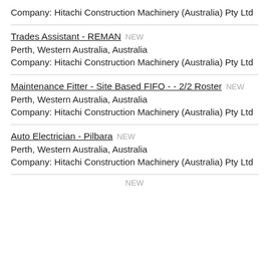Company: Hitachi Construction Machinery (Australia) Pty Ltd
Trades Assistant - REMAN NEW
Perth, Western Australia, Australia
Company: Hitachi Construction Machinery (Australia) Pty Ltd
Maintenance Fitter - Site Based FIFO - - 2/2 Roster NEW
Perth, Western Australia, Australia
Company: Hitachi Construction Machinery (Australia) Pty Ltd
Auto Electrician - Pilbara NEW
Perth, Western Australia, Australia
Company: Hitachi Construction Machinery (Australia) Pty Ltd
NEW